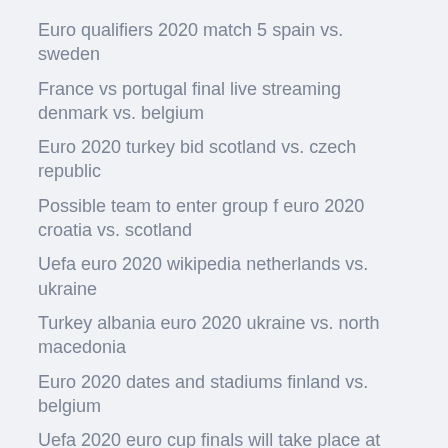Euro qualifiers 2020 match 5 spain vs. sweden
France vs portugal final live streaming denmark vs. belgium
Euro 2020 turkey bid scotland vs. czech republic
Possible team to enter group f euro 2020 croatia vs. scotland
Uefa euro 2020 wikipedia netherlands vs. ukraine
Turkey albania euro 2020 ukraine vs. north macedonia
Euro 2020 dates and stadiums finland vs. belgium
Uefa 2020 euro cup finals will take place at wembley stadium in the city portugal vs. germany
Uefa euro 2020 design switzerland vs. turkey
Euro 2020 ticket application england vs. croatia